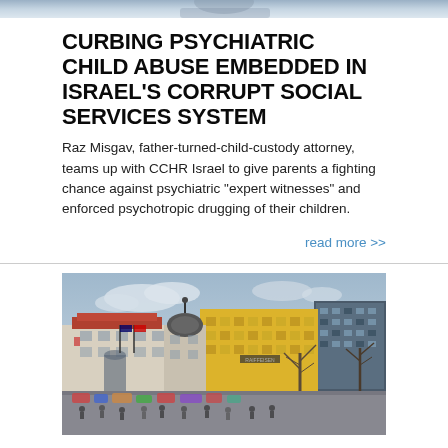[Figure (photo): Top partial image — cropped photo of a person, only bottom edge visible]
CURBING PSYCHIATRIC CHILD ABUSE EMBEDDED IN ISRAEL'S CORRUPT SOCIAL SERVICES SYSTEM
Raz Misgav, father-turned-child-custody attorney, teams up with CCHR Israel to give parents a fighting chance against psychiatric “expert witnesses” and enforced psychotropic drugging of their children.
read more >>
[Figure (photo): Photograph of a European city street scene with colorful historic buildings including a prominent yellow building, people and vehicles in the square, and bare winter trees. Likely Vienna or similar Central European city.]